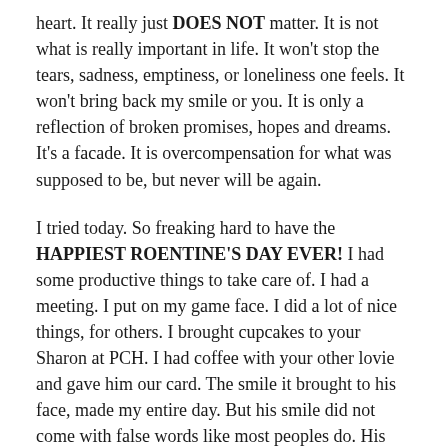heart. It really just DOES NOT matter. It is not what is really important in life. It won't stop the tears, sadness, emptiness, or loneliness one feels. It won't bring back my smile or you. It is only a reflection of broken promises, hopes and dreams. It's a facade. It is overcompensation for what was supposed to be, but never will be again.
I tried today. So freaking hard to have the HAPPIEST ROENTINE'S DAY EVER! I had some productive things to take care of. I had a meeting. I put on my game face. I did a lot of nice things, for others. I brought cupcakes to your Sharon at PCH. I had coffee with your other lovie and gave him our card. The smile it brought to his face, made my entire day. But his smile did not come with false words like most peoples do. His smile came with watery eyes and words like, “I know you are in excruciating pain…..” I know he knows, which makes my pain worse. I don’t